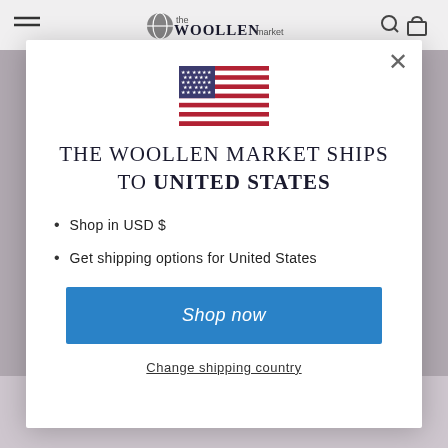the WOOLLEN market
[Figure (illustration): US flag SVG illustration]
THE WOOLLEN MARKET SHIPS TO UNITED STATES
Shop in USD $
Get shipping options for United States
Shop now
Change shipping country
LUXURY
IN THE MATERIALS